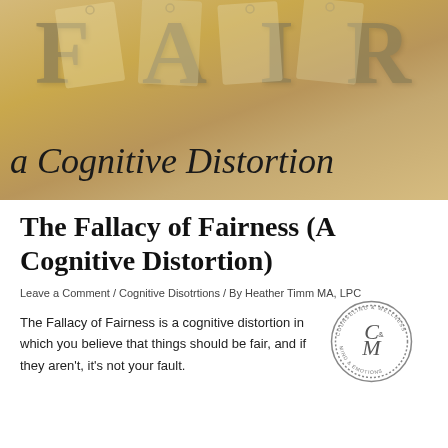[Figure (photo): Hero image with wooden letter tiles spelling FAIR on a golden/tan background, with cursive script overlay reading 'a Cognitive Distortion']
The Fallacy of Fairness (A Cognitive Distortion)
Leave a Comment / Cognitive Disotrtions / By Heather Timm MA, LPC
The Fallacy of Fairness is a cognitive distortion in which you believe that things should be fair, and if they aren't, it's not your fault.